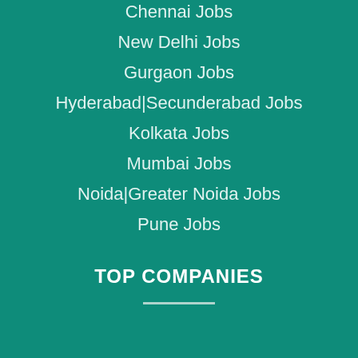Chennai Jobs
New Delhi Jobs
Gurgaon Jobs
Hyderabad|Secunderabad Jobs
Kolkata Jobs
Mumbai Jobs
Noida|Greater Noida Jobs
Pune Jobs
TOP COMPANIES